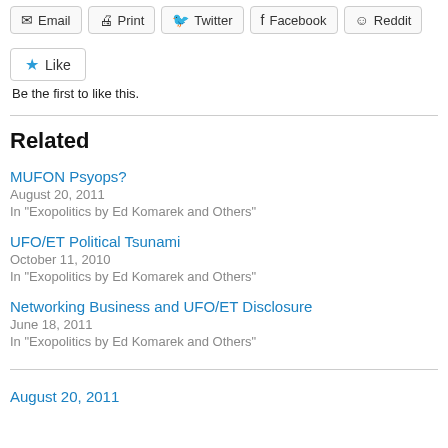Email | Print | Twitter | Facebook | Reddit
Like
Be the first to like this.
Related
MUFON Psyops?
August 20, 2011
In "Exopolitics by Ed Komarek and Others"
UFO/ET Political Tsunami
October 11, 2010
In "Exopolitics by Ed Komarek and Others"
Networking Business and UFO/ET Disclosure
June 18, 2011
In "Exopolitics by Ed Komarek and Others"
August 20, 2011